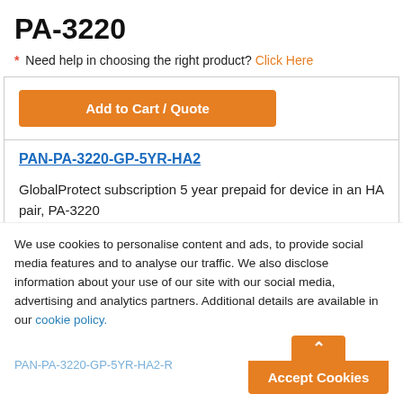PA-3220
* Need help in choosing the right product? Click Here
Add to Cart / Quote
PAN-PA-3220-GP-5YR-HA2
GlobalProtect subscription 5 year prepaid for device in an HA pair, PA-3220
$17,320.00
We use cookies to personalise content and ads, to provide social media features and to analyse our traffic. We also disclose information about your use of our site with our social media, advertising and analytics partners. Additional details are available in our cookie policy.
PAN-PA-3220-GP-5YR-HA2-R
Accept Cookies